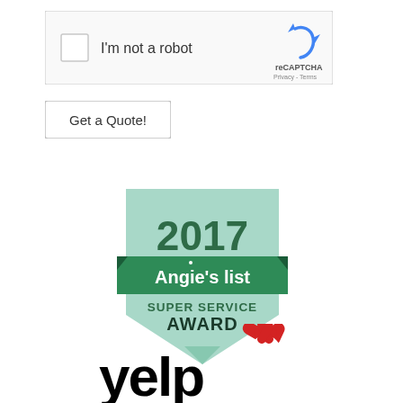[Figure (screenshot): reCAPTCHA widget with checkbox labeled I'm not a robot]
[Figure (illustration): Get a Quote! button]
[Figure (logo): 2017 Angie's List Super Service Award badge - shield shape in green with green banner]
[Figure (logo): Yelp logo - partial view showing yelp text and red burst icon]